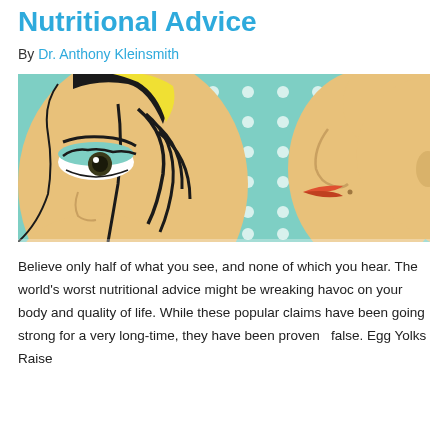Nutritional Advice
By Dr. Anthony Kleinsmith
[Figure (illustration): Pop-art style illustration showing two faces in profile facing each other — a woman on the left with dramatic eye makeup and yellow/black hair, and another person on the right whispering, against a teal polka-dot background.]
Believe only half of what you see, and none of which you hear. The world's worst nutritional advice might be wreaking havoc on your body and quality of life. While these popular claims have been going strong for a very long-time, they have been proven   false. Egg Yolks Raise